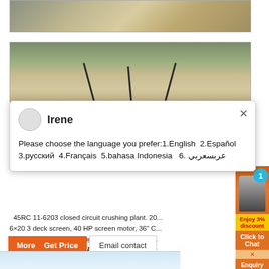[Figure (photo): Top strip: industrial crushing/mining plant equipment against sandy terrain]
[Figure (photo): Quarry/mining scene with conveyor belts and sand stockpiles, aerial view]
Irene
Please choose the language you prefer:1.English  2.Español  3.русский  4.Français  5.bahasa Indonesia   6. عربي عربيس
45RC 11-6203 closed circuit crushing plant. 20... 6×20 3 deck screen, 40 HP screen motor, 36" C... screen belt (4) hyd. jacking legs,100 ft power ... CLICK IMAGE FOR DETAILS
[Figure (photo): Partial bottom image - sky/light blue]
[Figure (infographic): Right sidebar: orange ad panel with crusher equipment photo, blue circle with '1', '3% discount', 'Click to Chat', 'Enquiry' buttons]